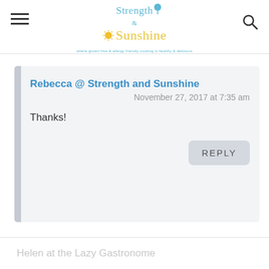Strength & Sunshine — where gluten-free & allergy friendly cooking is healthy & delicious
Rebecca @ Strength and Sunshine
November 27, 2017 at 7:35 am
Thanks!
REPLY
Helen at the Lazy Gastronome